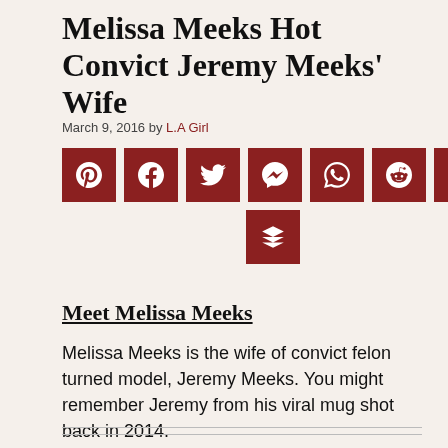Melissa Meeks Hot Convict Jeremy Meeks’ Wife
March 9, 2016 by L.A Girl
[Figure (other): Social media share buttons: Pinterest, Facebook, Twitter, Messenger, WhatsApp, Reddit, Pocket, Buffer]
Meet Melissa Meeks
Melissa Meeks is the wife of convict felon turned model, Jeremy Meeks. You might remember Jeremy from his viral mug shot back in 2014.